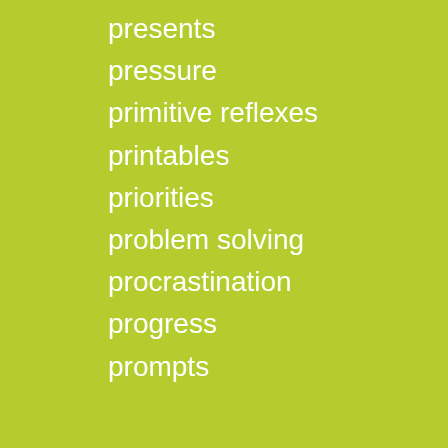presents
pressure
primitive reflexes
printables
priorities
problem solving
procrastination
progress
prompts